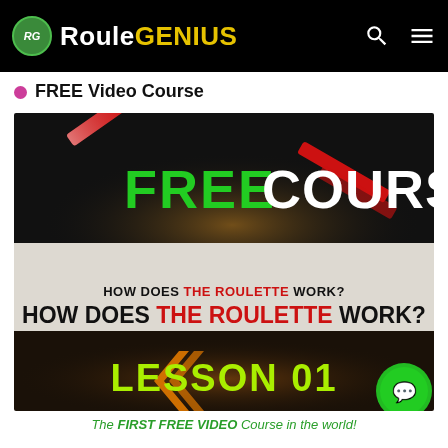RouleGENIUS
FREE Video Course
[Figure (screenshot): Promotional video thumbnail for RouleGENIUS Free Course Lesson 01. Top section has black background with 'FREE' in green bold text and 'COURSE' in white bold text, with red and white chevron graphic accents. Middle section has white/light background with text 'HOW DOES THE ROULETTE WORK?' where 'THE ROULETTE' is in red bold. Bottom section has dark background with orange chevron accents and 'LESSON 01' in bold yellow-green text.]
The FIRST FREE VIDEO Course in the world!